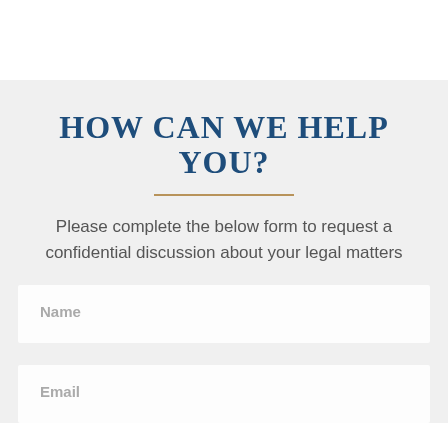HOW CAN WE HELP YOU?
Please complete the below form to request a confidential discussion about your legal matters
Name
Email